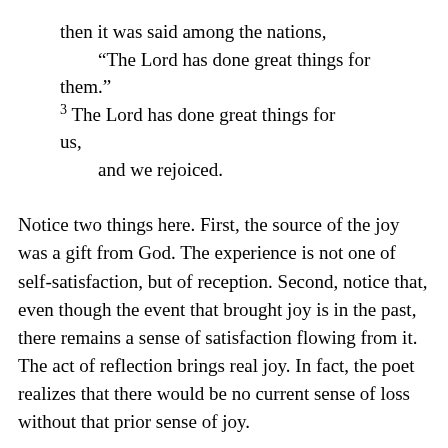then it was said among the nations,
“The Lord has done great things for them.”
3 The Lord has done great things for us,
    and we rejoiced.
Notice two things here. First, the source of the joy was a gift from God. The experience is not one of self-satisfaction, but of reception. Second, notice that, even though the event that brought joy is in the past, there remains a sense of satisfaction flowing from it. The act of reflection brings real joy. In fact, the poet realizes that there would be no current sense of loss without that prior sense of joy.